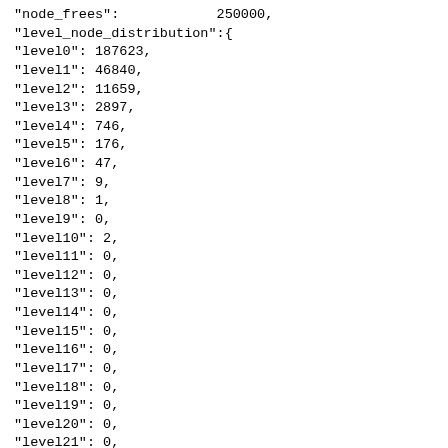"node_frees":            250000,
"level_node_distribution":{
"level0": 187623,
"level1": 46840,
"level2": 11659,
"level3": 2897,
"level4": 746,
"level5": 176,
"level6": 47,
"level7": 9,
"level8": 1,
"level9": 0,
"level10": 2,
"level11": 0,
"level12": 0,
"level13": 0,
"level14": 0,
"level15": 0,
"level16": 0,
"level17": 0,
"level18": 0,
"level19": 0,
"level20": 0,
"level21": 0,
"level22": 0,
"level23": 0,
"level24": 0,
"level25": 0,
"level26": 0,
"level27": 0,